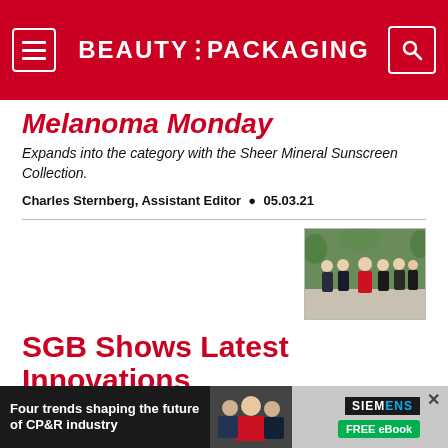BEAUTY PACKAGING
Melanoma Monday
Expands into the category with the Sheer Mineral Sunscreen Collection.
Charles Sternberg, Assistant Editor • 05.03.21
[Figure (photo): Group photo of several people standing outdoors in front of greenery]
SGB Shows Latest Innovations
SGB's team discusses its new standards, sustainable
[Figure (infographic): Advertisement banner: Four trends shaping the future of CP&R industry. Siemens FREE eBook.]